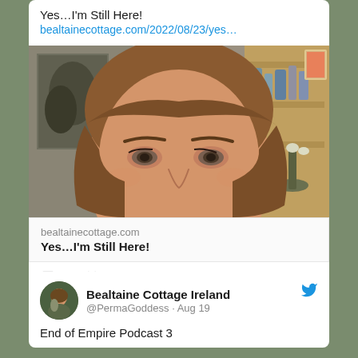Yes…I'm Still Here!
bealtainecottage.com/2022/08/23/yes…
[Figure (photo): Close-up selfie photo of a middle-aged woman with brown hair, looking into the camera. Background shows wooden shelves with items and a painting on the wall.]
bealtainecottage.com
Yes…I'm Still Here!
4
32
Bealtaine Cottage Ireland @PermaGoddess · Aug 19
End of Empire Podcast 3